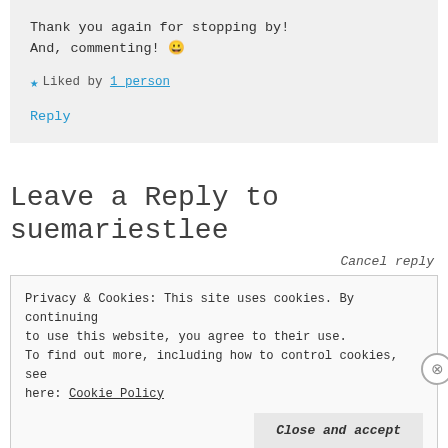Thank you again for stopping by!
And, commenting! 😀
★ Liked by 1 person
Reply
Leave a Reply to suemariestlee
Cancel reply
Privacy & Cookies: This site uses cookies. By continuing to use this website, you agree to their use.
To find out more, including how to control cookies, see here: Cookie Policy
Close and accept